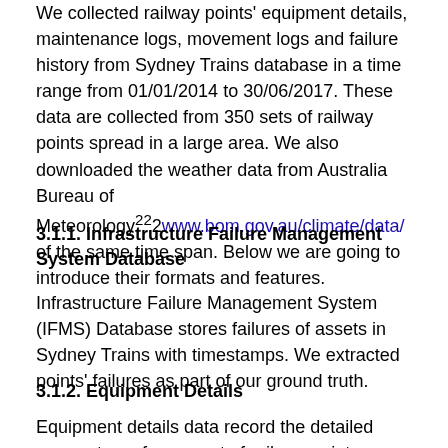We collected railway points' equipment details, maintenance logs, movement logs and failure history from Sydney Trains database in a time range from 01/01/2014 to 30/06/2017. These data are collected from 350 sets of railway points spread in a large area. We also downloaded the weather data from Australia Bureau of Meteorology²²2www.bom.gov.au/climate/data/ of the same time span. Below we are going to introduce their formats and features.
3.1.1. Infrastructure Failure Management System Database
Infrastructure Failure Management System (IFMS) Database stores failures of assets in Sydney Trains with timestamps. We extracted points' failures as part of our ground truth.
3.1.2. Equipment Details
Equipment details data record the detailed parameters of every set of railway points, including Points ID,